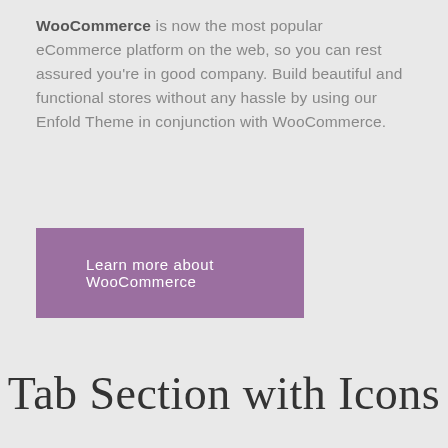WooCommerce is now the most popular eCommerce platform on the web, so you can rest assured you're in good company. Build beautiful and functional stores without any hassle by using our Enfold Theme in conjunction with WooCommerce.
Learn more about WooCommerce
Tab Section with Icons